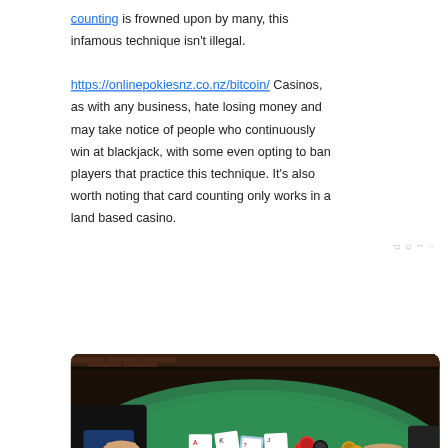counting is frowned upon by many, this infamous technique isn't illegal. https://onlinepokiesnz.co.nz/bitcoin/ Casinos, as with any business, hate losing money and may take notice of people who continuously win at blackjack, with some even opting to ban players that practice this technique. It's also worth noting that card counting only works in a land based casino.
[Figure (photo): Photo of a blackjack table with a green felt surface, cards, and poker chips. Multiple players' hands visible around the table.]